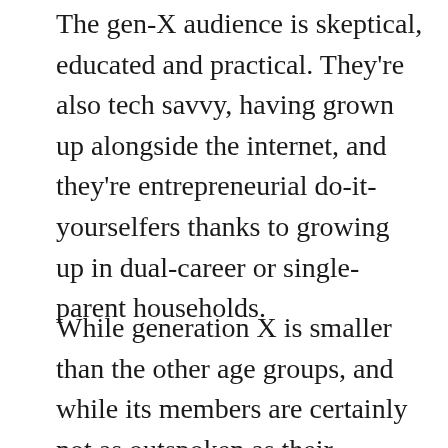The gen-X audience is skeptical, educated and practical. They're also tech savvy, having grown up alongside the internet, and they're entrepreneurial do-it-yourselfers thanks to growing up in dual-career or single-parent households.
While generation X is smaller than the other age groups, and while its members are certainly not as outspoken as their boomer and millennial counterparts, the approximately 50 million gen Xers should not be overlooked. They are reaching their peak earning and